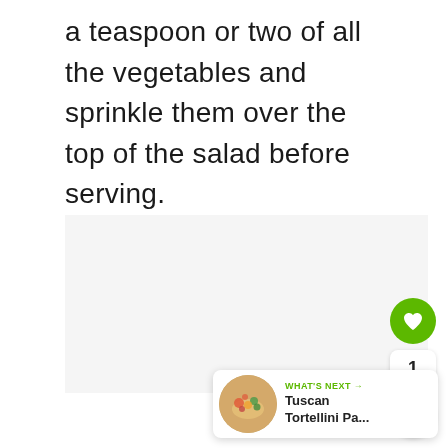a teaspoon or two of all the vegetables and sprinkle them over the top of the salad before serving.
[Figure (photo): Light gray placeholder area representing a food image]
[Figure (infographic): Green like/heart button with count of 1 and a share button below]
[Figure (infographic): What's Next banner with circular food photo thumbnail and text 'Tuscan Tortellini Pa...']